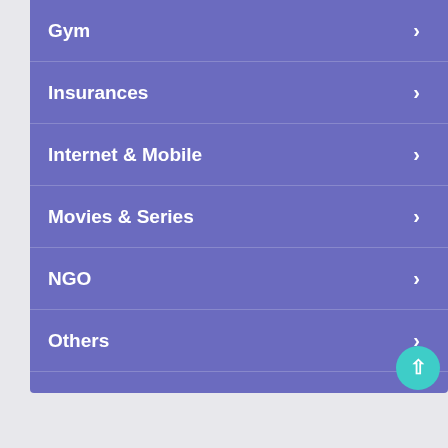Gym
Insurances
Internet & Mobile
Movies & Series
NGO
Others
Political Party